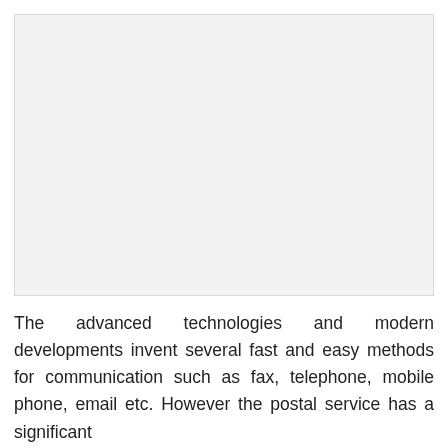[Figure (other): Large light grey blank rectangular area, likely a placeholder for an image or figure]
The advanced technologies and modern developments invent several fast and easy methods for communication such as fax, telephone, mobile phone, email etc. However the postal service has a significant